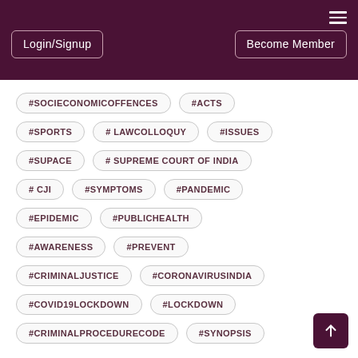Login/Signup | Become Member
#SOCIECONOMICOFFENCES
#ACTS
#SPORTS
# LAWCOLLOQUY
#ISSUES
#SUPACE
# SUPREME COURT OF INDIA
# CJI
#SYMPTOMS
#PANDEMIC
#EPIDEMIC
#PUBLICHEALTH
#AWARENESS
#PREVENT
#CRIMINALJUSTICE
#CORONAVIRUSINDIA
#COVID19LOCKDOWN
#LOCKDOWN
#CRIMINALPROCEDURECODE
#SYNOPSIS